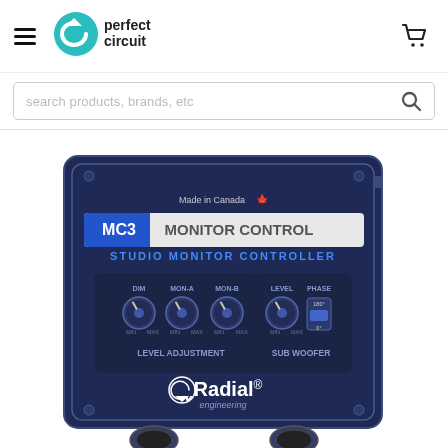[Figure (logo): Perfect Circuit logo with teal circle arrow icon and text 'perfect circuit']
[Figure (screenshot): Search bar with placeholder text 'search products, brands, etc' and magnifying glass icon]
[Figure (photo): Photo of Radial Engineering MC3 Monitor Control Studio Monitor Controller device, dark blue metal box with knobs labeled DIM, MON-A, MON-B under LEVEL ADJUSTMENT, and LEVEL, PHASE under SUB WOOFER section. Text on device: Made in Canada, MC3 / MONITOR CONTROL, STUDIO MONITOR CONTROLLER, Radial engineering logo]